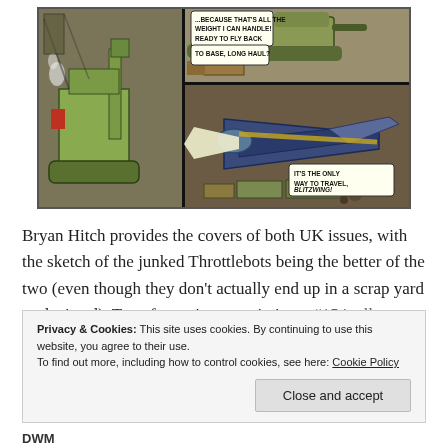[Figure (illustration): Comic book panel from Transformers showing construction vehicle Transformers (including Long Haul and Blitzwing) in a battle/work scene. Left panel shows a large green construction robot/crane. Top-right panel shows heavy vehicles and trucks. Bottom-right panel shows a blue/dark jet aircraft (Blitzwing). Speech bubbles read: '...BECAUSE THAT'S ALL THE WEIGHT I CAN HANDLE!', 'READY TO FLY BACK TO BASE, LONG HAUL?', and 'IT'S THE ONLY WAY TO TRAVEL, BLITZWING!']
Bryan Hitch provides the covers of both UK issues, with the sketch of the junked Throttlebots being the better of the two (even though they don't actually end up in a scrap yard as depicted). Transformation page in issue #154 talks up the story as another of those 'humans
Privacy & Cookies: This site uses cookies. By continuing to use this website, you agree to their use.
To find out more, including how to control cookies, see here: Cookie Policy
Close and accept
DWM